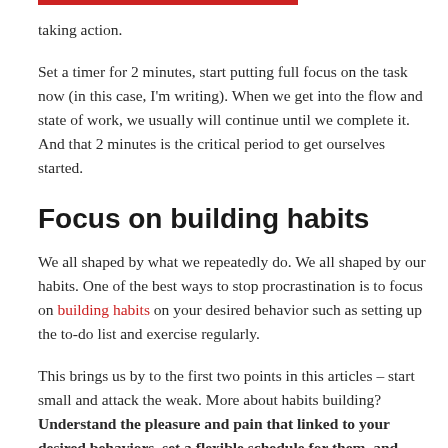taking action.
Set a timer for 2 minutes, start putting full focus on the task now (in this case, I'm writing). When we get into the flow and state of work, we usually will continue until we complete it. And that 2 minutes is the critical period to get ourselves started.
Focus on building habits
We all shaped by what we repeatedly do. We all shaped by our habits. One of the best ways to stop procrastination is to focus on building habits on your desired behavior such as setting up the to-do list and exercise regularly.
This brings us by to the first two points in this articles – start small and attack the weak. More about habits building? Understand the pleasure and pain that linked to your desired behaviors, set a flexible schedule for them, and reward